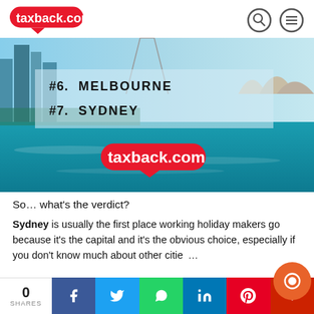taxback.com [logo] [search icon] [menu icon]
[Figure (screenshot): Hero image showing Melbourne and Sydney cityscape with teal harbour water, Sydney Opera House visible on right. Overlay box lists #6. MELBOURNE and #7. SYDNEY. taxback.com logo displayed at bottom center of hero.]
So… what's the verdict?
Sydney is usually the first place working holiday makers go because it's the capital and it's the obvious choice, especially if you don't know much about other cities…
0 SHARES | Facebook | Twitter | WhatsApp | LinkedIn | Pinterest | More